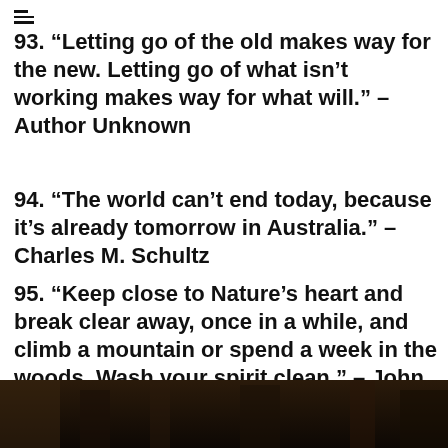93. “Letting go of the old makes way for the new. Letting go of what isn’t working makes way for what will.” – Author Unknown
94. “The world can’t end today, because it’s already tomorrow in Australia.” –Charles M. Schultz
95. “Keep close to Nature’s heart and break clear away, once in a while, and climb a mountain or spend a week in the woods. Wash your spirit clean.” – John Muir
[Figure (photo): Dark nature/woods photograph strip at the bottom of the page]